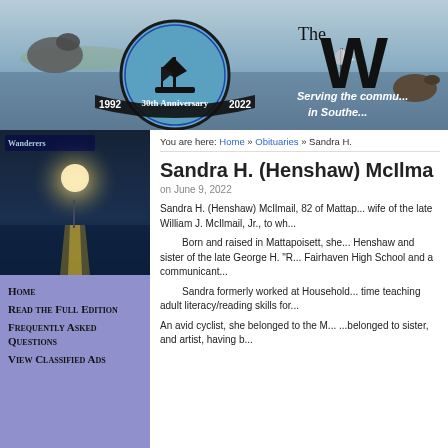[Figure (photo): Website header banner showing a nautical scene with a seal/sea lion, a sailing ship logo badge celebrating 30th Anniversary 1992-2022, and the publication name 'The Wanderer' with tagline 'Serving the community in Southe...']
[Figure (photo): Left sidebar magazine cover image showing a moonlit harbor scene with boats and reflections on the water, with 'Wanderer' magazine logo]
Home
Read the Full Edition
Frequently Asked Questions
View Classified Ads
You are here: Home » Obituaries » Sandra H.
Sandra H. (Henshaw) McIlma
on June 9, 2022
Sandra H. (Henshaw) McIlmail, 82 of Mattap... wife of the late William J. McIlmail, Jr., to wh...
Born and raised in Mattapoisett, she... Henshaw and sister of the late George H. "R... Fairhaven High School and a communicant...
Sandra formerly worked at Household... time teaching adult literacy/reading skills for...
An avid cyclist, she belonged to the M... ...belonged to sister, and artist, having b...